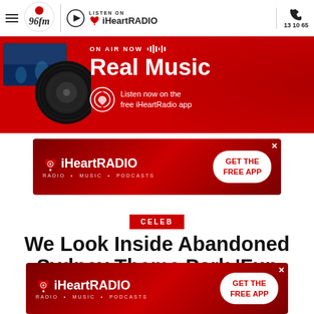96FM Perth | Listen On iHeartRadio | 13 10 65
[Figure (screenshot): On Air Now banner with vinyl record image - Real Music, Listen now on the free iHeartRadio app]
[Figure (screenshot): iHeartRadio advertisement banner - Radio Music Podcasts - GET THE FREE APP]
CELEB
We Look Inside Abandoned Sydney Theme Park 'Fun Land'
[Figure (screenshot): iHeartRadio advertisement banner - Radio Music Podcasts - GET THE FREE APP]